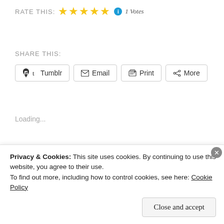RATE THIS: ★★★★★ ℹ 1 Votes
SHARE THIS:
Tumblr  Email  Print  More
Loading...
CATEGORIES  ALL IN THE FAMILY, AND THERE WAS MUSIC . . ., BEING BRUTALLY HONEST, BLOGSURFER.US, FRIENDS AND FAMILY, IN DREAMS, JUST KEEP BREATHING, LIFE OR...
Privacy & Cookies: This site uses cookies. By continuing to use this website, you agree to their use.
To find out more, including how to control cookies, see here: Cookie Policy
Close and accept